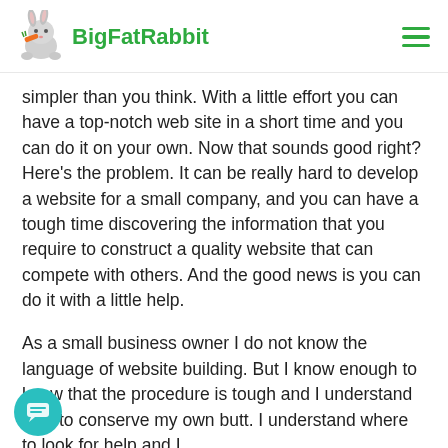BigFatRabbit
simpler than you think. With a little effort you can have a top-notch web site in a short time and you can do it on your own. Now that sounds good right? Here's the problem. It can be really hard to develop a website for a small company, and you can have a tough time discovering the information that you require to construct a quality website that can compete with others. And the good news is you can do it with a little help.
As a small business owner I do not know the language of website building. But I know enough to know that the procedure is tough and I understand how to conserve my own butt. I understand where to look for help and I